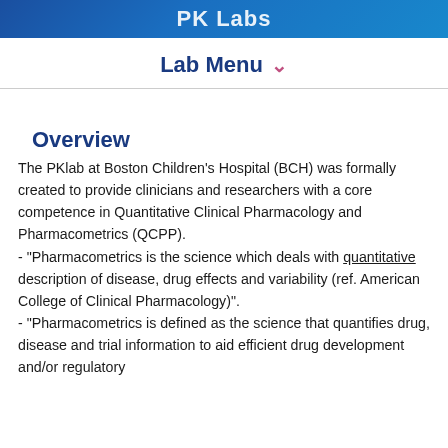PK Labs
Lab Menu
Overview
The PKlab at Boston Children's Hospital (BCH) was formally created to provide clinicians and researchers with a core competence in Quantitative Clinical Pharmacology and Pharmacometrics (QCPP).
- "Pharmacometrics is the science which deals with quantitative description of disease, drug effects and variability (ref. American College of Clinical Pharmacology)".
- "Pharmacometrics is defined as the science that quantifies drug, disease and trial information to aid efficient drug development and/or regulatory